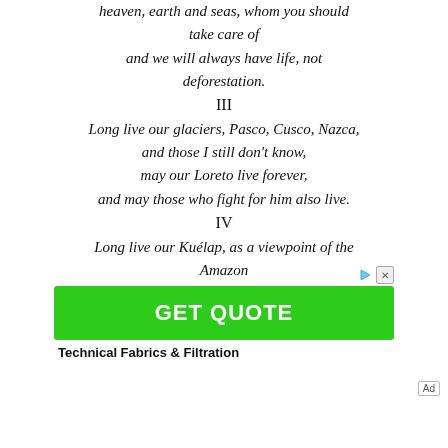heaven, earth and seas, whom you should take care of
and we will always have life, not deforestation.
III
Long live our glaciers, Pasco, Cusco, Nazca,
and those I still don't know,
may our Loreto live forever,
and may those who fight for him also live.
IV
Long live our Kuélap, as a viewpoint of the Amazon
may our Gesta live, as a spring, and many
[Figure (other): Advertisement banner with green GET QUOTE button and text 'Technical Fabrics & Filtration']